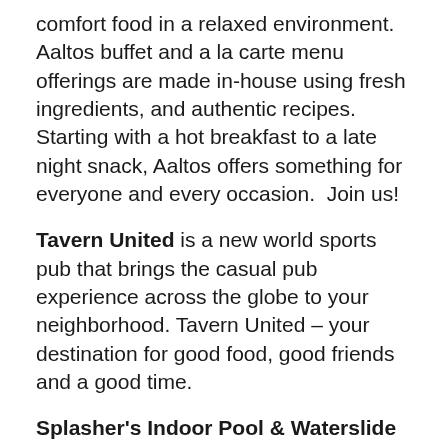comfort food in a relaxed environment. Aaltos buffet and a la carte menu offerings are made in-house using fresh ingredients, and authentic recipes.  Starting with a hot breakfast to a late night snack, Aaltos offers something for everyone and every occasion.  Join us!
Tavern United is a new world sports pub that brings the casual pub experience across the globe to your neighborhood. Tavern United – your destination for good food, good friends and a good time.
Splasher's Indoor Pool & Waterslide is our amazing water park, featuring huge wild water slides, creatively shaped and refreshing pools, relaxing hot tubs and safe kiddie pools.
Playmaker's Gaming Lounge is a "boutique